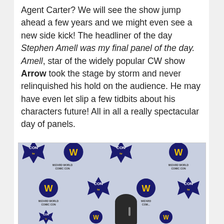Agent Carter? We will see the show jump ahead a few years and we might even see a new side kick! The headliner of the day Stephen Amell was my final panel of the day. Amell, star of the widely popular CW show Arrow took the stage by storm and never relinquished his hold on the audience. He may have even let slip a few tidbits about his characters future! All in all a really spectacular day of panels.
[Figure (photo): Photo of a woman speaking at a Wizard World Comic Con press event, standing in front of a repeating logo backdrop featuring 'CONtv' and 'Wizard World Comic Con' logos.]